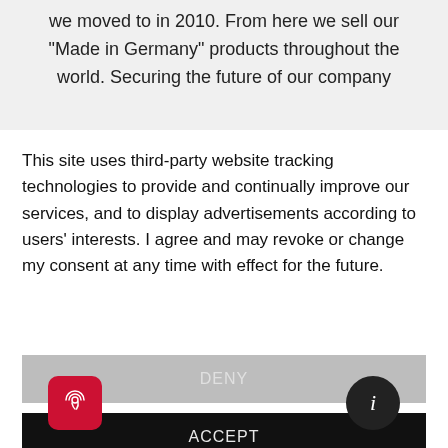we moved to in 2010. From here we sell our “Made in Germany” products throughout the world. Securing the future of our company
This site uses third-party website tracking technologies to provide and continually improve our services, and to display advertisements according to users' interests. I agree and may revoke or change my consent at any time with effect for the future.
DENY
ACCEPT
MORE
[Figure (logo): Red rounded square icon with fingerprint symbol]
[Figure (logo): Black circle icon with white letter i]